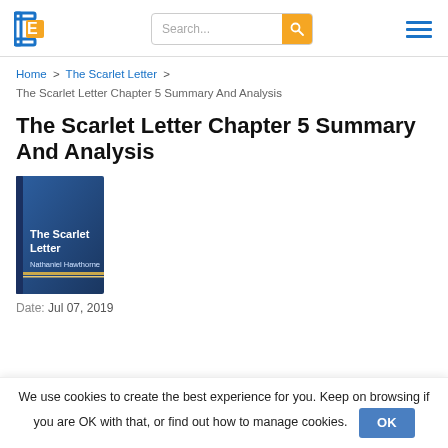Search... [logo] [hamburger menu]
Home > The Scarlet Letter > The Scarlet Letter Chapter 5 Summary And Analysis
The Scarlet Letter Chapter 5 Summary And Analysis
[Figure (illustration): Book cover of The Scarlet Letter by Nathaniel Hawthorne — dark blue gradient cover with gold horizontal line near the bottom, white text reading 'The Scarlet Letter' and 'Nathaniel Hawthorne']
Date: Jul 07, 2019
We use cookies to create the best experience for you. Keep on browsing if you are OK with that, or find out how to manage cookies.